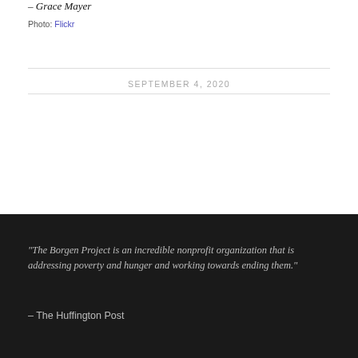– Grace Mayer
Photo: Flickr
SEPTEMBER 4, 2020
“The Borgen Project is an incredible nonprofit organization that is addressing poverty and hunger and working towards ending them.”
– The Huffington Post